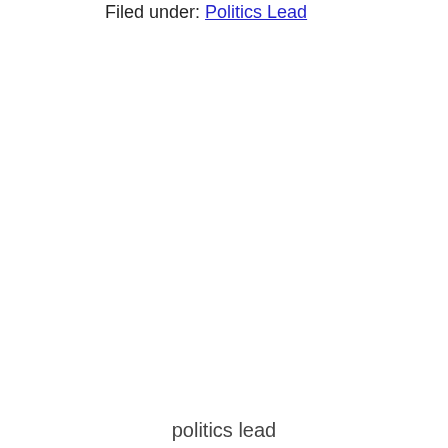Filed under: Politics Lead
politics lead